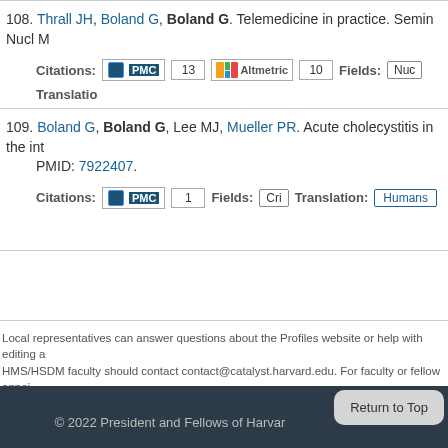108. Thrall JH, Boland G, Boland G. Telemedicine in practice. Semin Nucl M... Citations: PMC 13 Altmetric 10 Fields: Nuc Translation: ...
109. Boland G, Boland G, Lee MJ, Mueller PR. Acute cholecystitis in the i... PMID: 7922407. Citations: PMC 1 Fields: Cri Translation: Humans
Local representatives can answer questions about the Profiles website or help with editing a... HMS/HSDM faculty should contact contact@catalyst.harvard.edu. For faculty or fellow appoi... contact HMS. For fellow personal and demographic information, contact HMS Human Resou... demographic information, contact HMS Office for Faculty Affairs at facappt@hms.harvard.ed...
© 2022 President and Fellows of Harvar... Return to Top